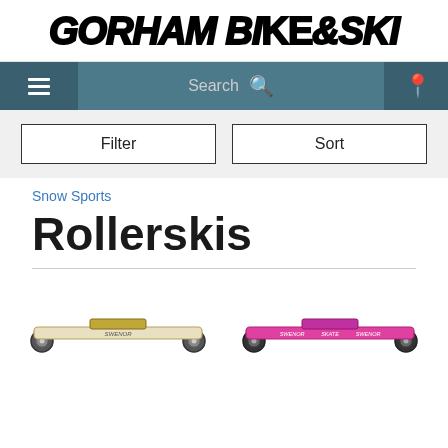GORHAM BIKE & SKI
[Figure (screenshot): Navigation bar with hamburger menu, search bar, and location pin icon on teal/dark teal background]
[Figure (screenshot): Filter and Sort buttons on light grey background]
Snow Sports
Rollerskis
[Figure (photo): Two rollerskis product images side by side: left is a white/gold Swenor rollerski, right is a pink/magenta Swenor Skate rollerski]